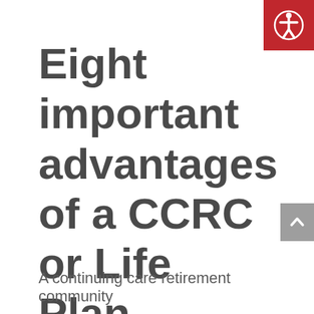[Figure (logo): Red square accessibility icon button with white person/wheelchair symbol in top-right corner]
Eight important advantages of a CCRC or Life Plan Community
[Figure (other): Gray scroll-to-top button with upward chevron arrow on right side]
A continuing care retirement community